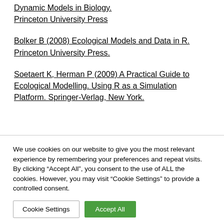Elman S & Guckenheimer J (2008) Dynamic Models in Biology. Princeton University Press
Bolker B (2008) Ecological Models and Data in R. Princeton University Press.
Soetaert K, Herman P (2009) A Practical Guide to Ecological Modelling. Using R as a Simulation Platform. Springer-Verlag, New York.
We use cookies on our website to give you the most relevant experience by remembering your preferences and repeat visits. By clicking “Accept All”, you consent to the use of ALL the cookies. However, you may visit "Cookie Settings" to provide a controlled consent.